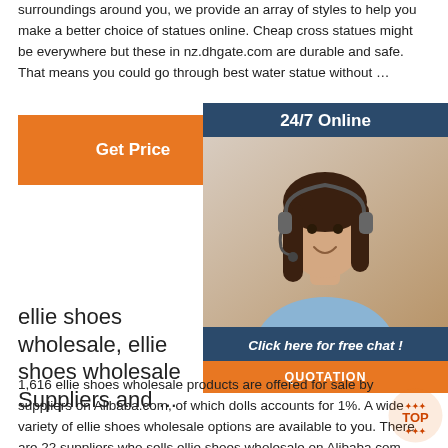surroundings around you, we provide an array of styles to help you make a better choice of statues online. Cheap cross statues might be everywhere but these in nz.dhgate.com are durable and safe. That means you could go through best water statue without …
[Figure (other): Orange 'Get Price' button]
[Figure (other): 24/7 Online chat widget with customer service representative photo and 'Click here for free chat!' text and QUOTATION button]
ellie shoes wholesale, ellie shoes wholesale Suppliers and ...
1,616 ellie shoes wholesale products are offered for sale by suppliers on Alibaba.com, of which dolls accounts for 1%. A wide variety of ellie shoes wholesale options are available to you. There are 22 suppliers who sells ellie shoes wholesale on Alibaba.com, mainly located in Asia. The top countries of supplier is China, from which the ...